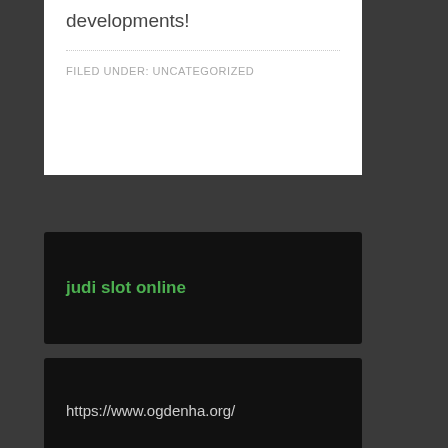developments!
FILED UNDER: UNCATEGORIZED
judi slot online
https://www.ogdenha.org/